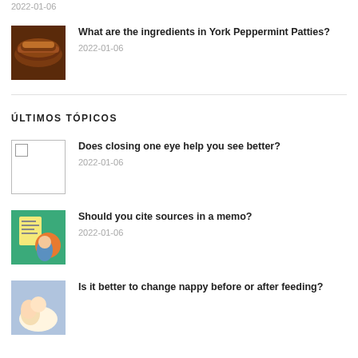2022-01-06
What are the ingredients in York Peppermint Patties?
2022-01-06
ÚLTIMOS TÓPICOS
Does closing one eye help you see better?
2022-01-06
Should you cite sources in a memo?
2022-01-06
Is it better to change nappy before or after feeding?